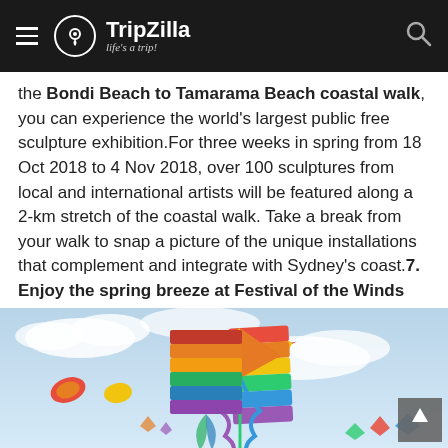TripZilla - life's a trip!
the Bondi Beach to Tamarama Beach coastal walk, you can experience the world's largest public free sculpture exhibition.For three weeks in spring from 18 Oct 2018 to 4 Nov 2018, over 100 sculptures from local and international artists will be featured along a 2-km stretch of the coastal walk. Take a break from your walk to snap a picture of the unique installations that complement and integrate with Sydney's coast.7. Enjoy the spring breeze at Festival of the Winds
[Figure (photo): Colorful kites flying in a blue sky with clouds, at the Festival of the Winds]